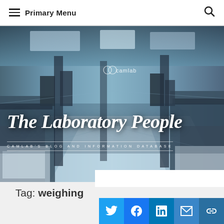Primary Menu
[Figure (photo): Blue-tinted laboratory interior with benches and equipment — 'The Laboratory People' hero banner for camlab's blog and information database]
The Laboratory People
CAMLAB'S BLOG AND INFORMATION DATABASE
Tag: weighing